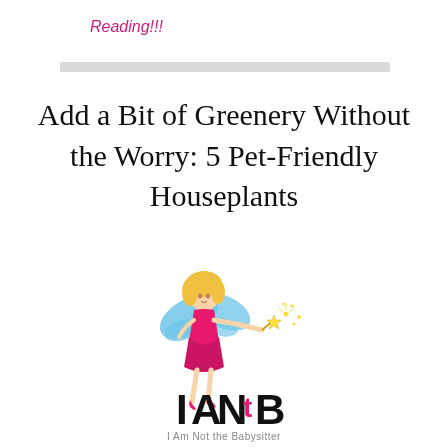Reading!!!
Add a Bit of Greenery Without the Worry: 5 Pet-Friendly Houseplants
[Figure (logo): IANtB - I Am Not the Babysitter logo featuring a fairy in pink dress with blue wings holding a magic wand with sparkles]